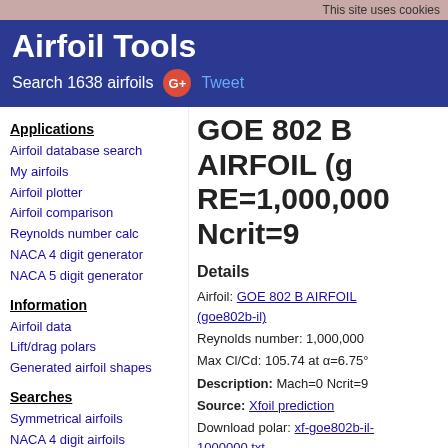This site uses cookies
Airfoil Tools
Search 1638 airfoils  Tweet
Applications
Airfoil database search
My airfoils
Airfoil plotter
Airfoil comparison
Reynolds number calc
NACA 4 digit generator
NACA 5 digit generator
Information
Airfoil data
Lift/drag polars
Generated airfoil shapes
Searches
Symmetrical airfoils
NACA 4 digit airfoils
NACA 5 digit airfoils
NACA 6 series airfoils
Airfoils A to Z
A a18 to avistar (88)
B b29root to hw3 (22)
GOE 802 B AIRFOIL (g RE=1,000,000 Ncrit=9
Details
Airfoil: GOE 802 B AIRFOIL (goe802b-il)
Reynolds number: 1,000,000
Max Cl/Cd: 105.74 at a=6.75°
Description: Mach=0 Ncrit=9
Source: Xfoil prediction
Download polar: xf-goe802b-il-1000000.txt
Download as CSV file: xf-goe802b-il-1000000.csv
Pola
Cal
1 1
xtr